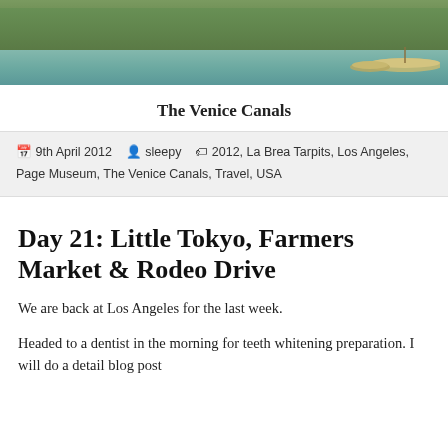[Figure (photo): Photo of Venice Canals with canoes/boats on water, green trees and vegetation in background]
The Venice Canals
9th April 2012   sleepy   2012, La Brea Tarpits, Los Angeles, Page Museum, The Venice Canals, Travel, USA
Day 21: Little Tokyo, Farmers Market & Rodeo Drive
We are back at Los Angeles for the last week.
Headed to a dentist in the morning for teeth whitening preparation. I will do a detail blog post